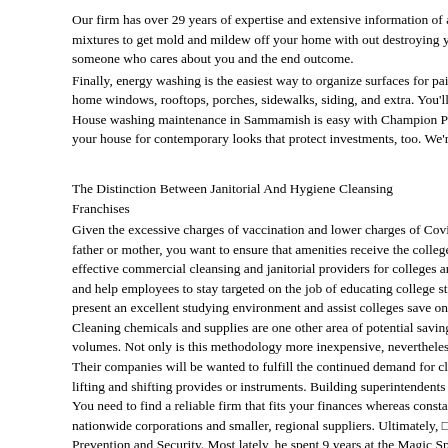Our firm has over 29 years of expertise and extensive information of all products used mixtures to get mold and mildew off your home with out destroying your paint or othe someone who cares about you and the end outcome.
Finally, energy washing is the easiest way to organize surfaces for paint, stain, sealing home windows, rooftops, porches, sidewalks, siding, and extra. You'll be amazed by th House washing maintenance in Sammamish is easy with Champion Power Washing at your house for contemporary looks that protect investments, too. We're keen about safe
The Distinction Between Janitorial And Hygiene Cleansing Franchises
Given the excessive charges of vaccination and lower charges of Covid-19 infections, m father or mother, you want to ensure that amenities receive the college cleaning compa effective commercial cleansing and janitorial providers for colleges and other instructio and help employees to stay targeted on the job of educating college students quite than present an excellent studying environment and assist colleges save on in-house cleansin Cleaning chemicals and supplies are one other area of potential savings. A faculty clear volumes. Not only is this methodology more inexpensive, nevertheless it also ensures t Their companies will be wanted to fulfill the continued demand for clear spaces. Janito lifting and shifting provides or instruments. Building superintendents are answerable fo You need to find a reliable firm that fits your finances whereas constantly offering qual nationwide corporations and smaller, regional suppliers. Ultimately, □□□ with will depe Prevention and Security. Most lately, he spent 9 years at the Magic Springs Theme & W companies, ground and carpet care, window cleaning, and stress washing.